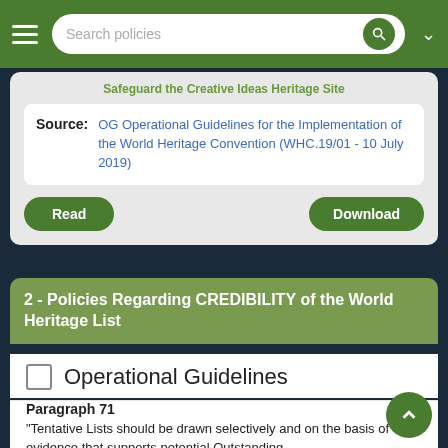Search policies
Source: OG Operational Guidelines for the Implementation of the World Heritage Convention (WHC.19/01 - 10 July 2019)
Read   Download
2 - Policies Regarding CREDIBILITY of the World Heritage List
Operational Guidelines
Paragraph 71
“Tentative Lists should be drawn selectively and on the basis of evidence that supports potential Outstanding